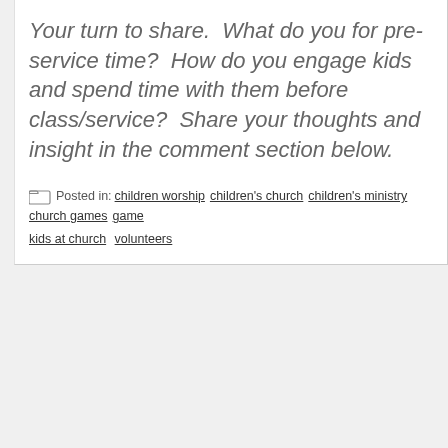Your turn to share.  What do you for pre-service time?  How do you engage kids and spend time with them before class/service?  Share your thoughts and insight in the comment section below.
Posted in: children worship  children's church  children's ministry  church games  games  kids at church  volunteers
Newer Post   Home   Ol...